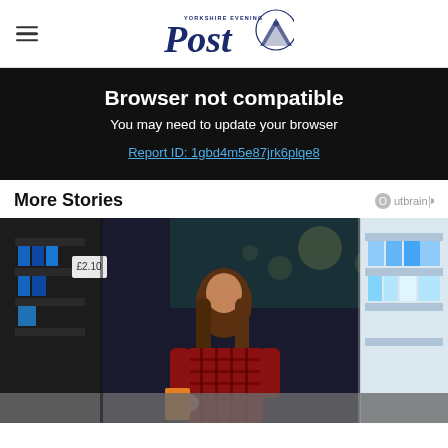Post (newspaper logo) with hamburger menu
Browser not compatible
You may need to update your browser
Report ID: 1gbd4m5e87jrk6plqe8
More Stories
[Figure (photo): Woman shopping in grocery store aisle, looking at product on shelf, bokeh lights in background]